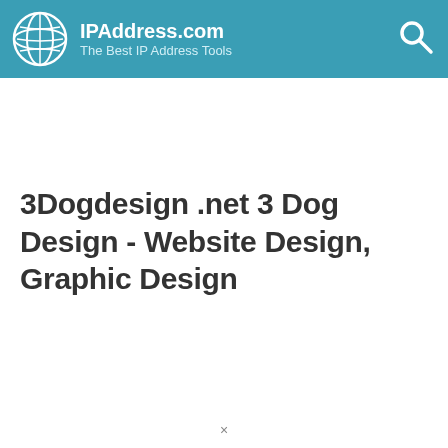IPAddress.com – The Best IP Address Tools
3Dogdesign .net 3 Dog Design - Website Design, Graphic Design